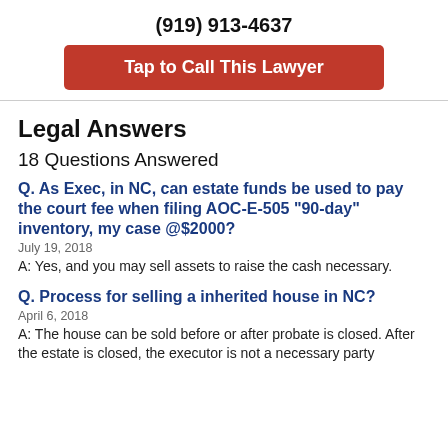(919) 913-4637
Tap to Call This Lawyer
Legal Answers
18 Questions Answered
Q. As Exec, in NC, can estate funds be used to pay the court fee when filing AOC-E-505 "90-day" inventory, my case @$2000?
July 19, 2018
A: Yes, and you may sell assets to raise the cash necessary.
Q. Process for selling a inherited house in NC?
April 6, 2018
A: The house can be sold before or after probate is closed. After the estate is closed, the executor is not a necessary party